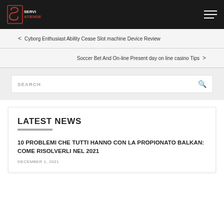SERVI ATIENDE
< Cyborg Enthusiast Ability Cease Slot machine Device Review
Soccer Bet And On-line Present day on line casino Tips >
SEARCH
LATEST NEWS
10 PROBLEMI CHE TUTTI HANNO CON LA PROPIONATO BALKAN: COME RISOLVERLI NEL 2021
DECEMBER 1, 2021